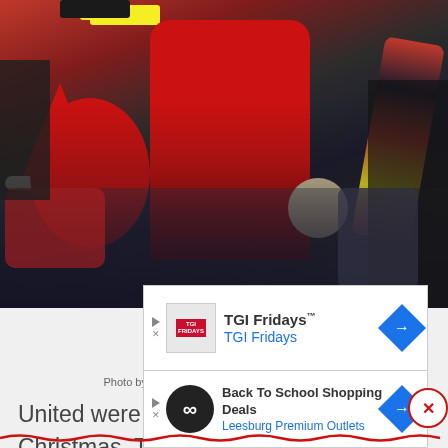[Figure (photo): Crowd of football fans wearing Santa hats in red outfits, cheering at a match. Christmas scene at a sports event.]
[Figure (advertisement): TGI Fridays advertisement banner with logo, name, and blue diamond arrow icon]
Photo by Chloe Knott – Danehouse/Getty Images
United were looking for momentum over Christmas. They'd won three on the bounce and with two home games – including the hotly anticipated visit of Chris
[Figure (advertisement): Back To School Shopping Deals - Leesburg Premium Outlets advertisement with infinity logo and blue diamond arrow]